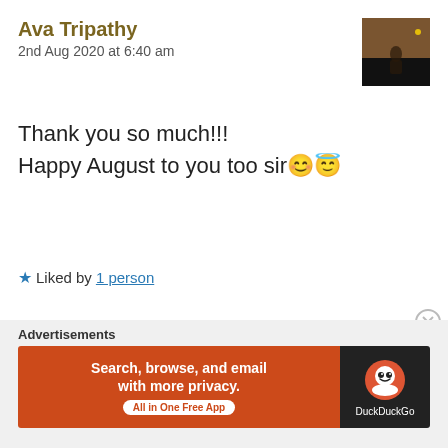Ava Tripathy
2nd Aug 2020 at 6:40 am
Thank you so much!!!
Happy August to you too sir😊😇
★ Liked by 1 person
Reply
vgeorg
2nd Aug 2020 at 12:18 pm
Advertisements
[Figure (screenshot): DuckDuckGo advertisement banner: 'Search, browse, and email with more privacy. All in One Free App' with DuckDuckGo logo on dark right panel]